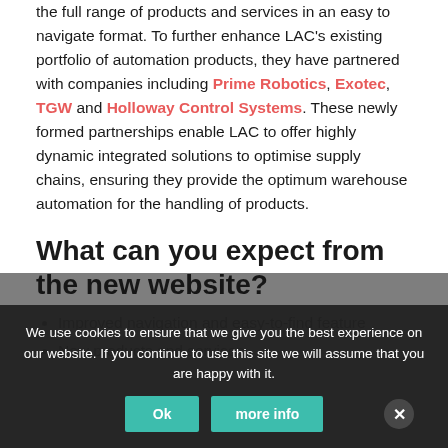the full range of products and services in an easy to navigate format. To further enhance LAC's existing portfolio of automation products, they have partnered with companies including Prime Robotics, Exotec, TGW and Holloway Control Systems. These newly formed partnerships enable LAC to offer highly dynamic integrated solutions to optimise supply chains, ensuring they provide the optimum warehouse automation for the handling of products.
What can you expect from the new website?
Improved navigation and easy-to-find feature
New products and services